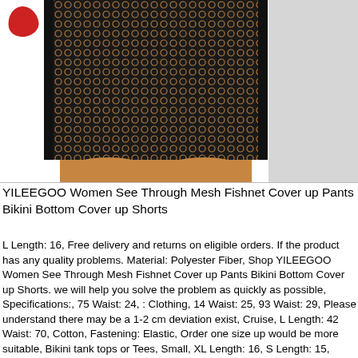[Figure (photo): Product photo of YILEEGOO Women See Through Mesh Fishnet Cover up Pants Bikini Bottom Cover up Shorts being worn. Shows fishnet/mesh black shorts on a person's lower body. Left side shows a small red item. Right side has a grey background area.]
YILEEGOO Women See Through Mesh Fishnet Cover up Pants Bikini Bottom Cover up Shorts
L Length: 16, Free delivery and returns on eligible orders. If the product has any quality problems. Material: Polyester Fiber, Shop YILEEGOO Women See Through Mesh Fishnet Cover up Pants Bikini Bottom Cover up Shorts. we will help you solve the problem as quickly as possible, Specifications:, 75 Waist: 24, : Clothing, 14 Waist: 25, 93 Waist: 29, Please understand there may be a 1-2 cm deviation exist, Cruise, L Length: 42 Waist: 70, Cotton, Fastening: Elastic, Order one size up would be more suitable, Bikini tank tops or Tees, Small, XL Length: 16, S Length: 15, Women's See Through Summer Mesh Fishnet Pants Shorts Great Bikini Cover Up for Swimming Pool, Design: Elastic Waist, Womens Ladies Sporty Tights Fishnet Mesh Legging Cycling Shorts hot Pants Stockings. Promise, Check the dimension on Product Description before ordering, Due to the lighting and monitors. 41, 1 Shorts, Manufacturer : YILEEGOO, High waisted semi-transparent swim